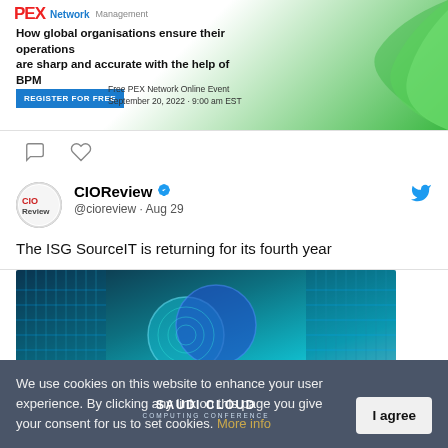[Figure (screenshot): Advertisement banner for PEX Network Management webinar: 'How global organisations ensure their operations are sharp and accurate with the help of BPM'. Register for Free button. Free PEX Network Online Event September 20, 2022 - 9:00 am EST. Green wave graphic on the right.]
[Figure (screenshot): Social media interaction icons: speech bubble (comment) and heart (like)]
[Figure (screenshot): CIOReview Twitter profile with avatar showing CIOReview logo in red/white circle, verified checkmark, @cioreview handle, Aug 29 date, Twitter bird icon top right. Tweet text: 'The ISG SourceIT is returning for its fourth year'. Image of Saudi Cloud Computing Conference with server room background and overlapping blue circle logos.]
We use cookies on this website to enhance your user experience. By clicking any link on this page you give your consent for us to set cookies. More info